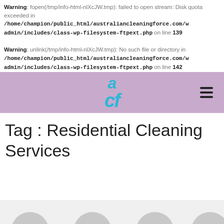Warning: fopen(/tmp/info-html-nlXcJW.tmp): failed to open stream: Disk quota exceeded in /home/champion/public_html/australiancleaningforce.com/wp-admin/includes/class-wp-filesystem-ftpext.php on line 139
Warning: unlink(/tmp/info-html-nlXcJW.tmp): No such file or directory in /home/champion/public_html/australiancleaningforce.com/wp-admin/includes/class-wp-filesystem-ftpext.php on line 142
[Figure (logo): ACF logo in cyan/teal with stylized 'a' and 'cf' letters on purple/lavender navigation bar]
Tag : Residential Cleaning Services
[Figure (photo): Partial view of people photos at bottom of page]